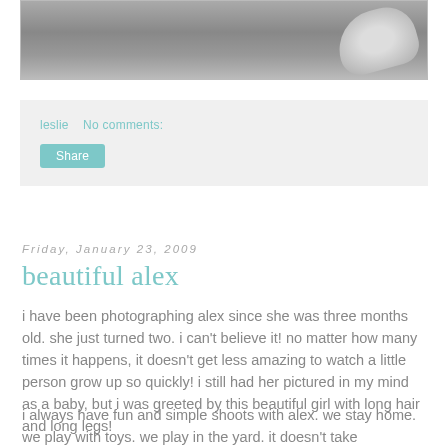[Figure (photo): Black and white photo cropped at top, showing what appears to be a baby or child with striped clothing, close-up view]
leslie    No comments:
Share
Friday, January 23, 2009
beautiful alex
i have been photographing alex since she was three months old.  she just turned two.  i can't believe it!  no matter how many times it happens, it doesn't get less amazing to watch a little person grow up so quickly!  i still had her pictured in my mind as a baby, but i was greeted by this beautiful girl with long hair and long legs!
i always have fun and simple shoots with alex.  we stay home.  we play with toys.  we play in the yard. it doesn't take